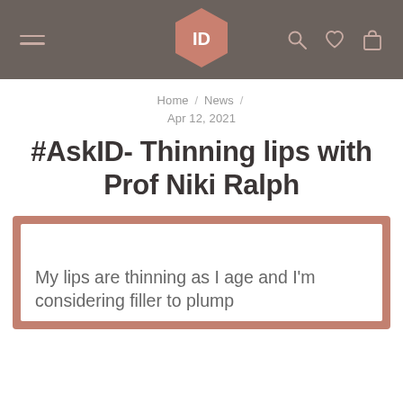ID — Navigation header with hamburger menu, ID logo, search, heart, and bag icons
Home / News /
Apr 12, 2021
#AskID- Thinning lips with Prof Niki Ralph
[Figure (other): Pink-framed decorative box containing quote text: My lips are thinning as I age and I'm considering filler to plump]
My lips are thinning as I age and I'm considering filler to plump